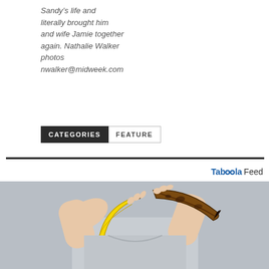Sandy’s life and literally brought him and wife Jamie together again. Nathalie Walker photos nwalker@midweek.com
CATEGORIES  FEATURE
[Figure (other): Taboola Feed logo and sponsored content section]
[Figure (photo): Person holding two bananas - one fresh yellow banana and one overripe brown banana against a grey background]